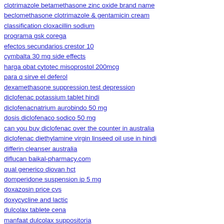clotrimazole betamethasone zinc oxide brand name
beclomethasone clotrimazole & gentamicin cream
classification cloxacillin sodium
programa gsk corega
efectos secundarios crestor 10
cymbalta 30 mg side effects
harga obat cytotec misoprostol 200mcg
para q sirve el deferol
dexamethasone suppression test depression
diclofenac potassium tablet hindi
diclofenacnatrium aurobindo 50 mg
dosis diclofenaco sodico 50 mg
can you buy diclofenac over the counter in australia
diclofenac diethylamine virgin linseed oil use in hindi
differin cleanser australia
diflucan baikal-pharmacy.com
qual generico diovan hct
domperidone suspension ip 5 mg
doxazosin price cvs
doxycycline and lactic
dulcolax tablete cena
manfaat dulcolax suppositoria
duphaston clomid
duphaston grossesse forum
weight gain on effexor